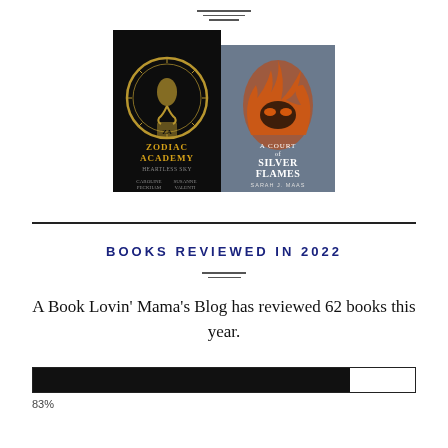[Figure (illustration): Two book covers side by side: left is 'Zodiac Academy: Heartless Sky' by Caroline Peckham and Susanne Valenti (dark background with gold scorpion/zodiac design), right is 'A Court of Silver Flames' by Sarah J. Maas (grey background with orange flame/mask design).]
BOOKS REVIEWED IN 2022
A Book Lovin' Mama's Blog has reviewed 62 books this year.
[Figure (infographic): A horizontal progress bar, approximately 83% filled in black, representing 83% of a reading goal.]
83%